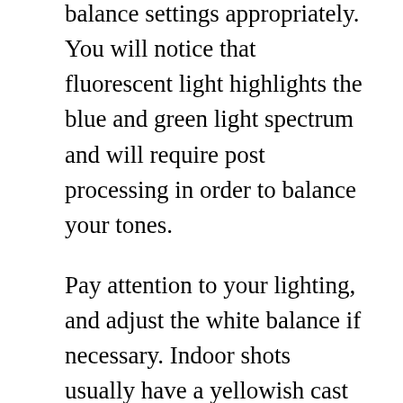balance settings appropriately. You will notice that fluorescent light highlights the blue and green light spectrum and will require post processing in order to balance your tones.
Pay attention to your lighting, and adjust the white balance if necessary. Indoor shots usually have a yellowish cast thanks to artificial lighting. Instead of taking the time to relight the entire room, adjust white balance and use your camera to create a whole new atmosphere. This slight change in quality will make your photographs have a much more professional look about them.
When you are taking a picture, experiment with perspective, expression and scale. You can make any object look interesting by placing it in an unusual context. Make compositions that make an ordinary object appear